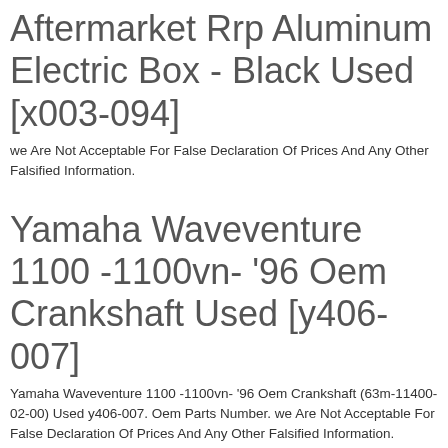Aftermarket Rrp Aluminum Electric Box - Black Used [x003-094]
we Are Not Acceptable For False Declaration Of Prices And Any Other Falsified Information.
Yamaha Waveventure 1100 -1100vn- '96 Oem Crankshaft Used [y406-007]
Yamaha Waveventure 1100 -1100vn- '96 Oem Crankshaft (63m-11400-02-00) Used y406-007. Oem Parts Number. we Are Not Acceptable For False Declaration Of Prices And Any Other Falsified Information.
Yamaha Gp800 -800gp- '99 Oem Carburetor Assy 1 Used [x404-001]